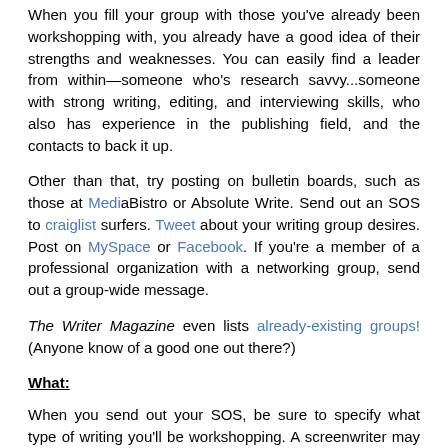When you fill your group with those you've already been workshopping with, you already have a good idea of their strengths and weaknesses. You can easily find a leader from within—someone who's research savvy...someone with strong writing, editing, and interviewing skills, who also has experience in the publishing field, and the contacts to back it up.
Other than that, try posting on bulletin boards, such as those at MediaBistro or Absolute Write. Send out an SOS to craiglist surfers. Tweet about your writing group desires. Post on MySpace or Facebook. If you're a member of a professional organization with a networking group, send out a group-wide message.
The Writer Magazine even lists already-existing groups! (Anyone know of a good one out there?)
What:
When you send out your SOS, be sure to specify what type of writing you'll be workshopping. A screenwriter may not be much help to a children's book author, unless you manage to pull together a group of people who are all interested in multiple facets of the writing business!
Where: